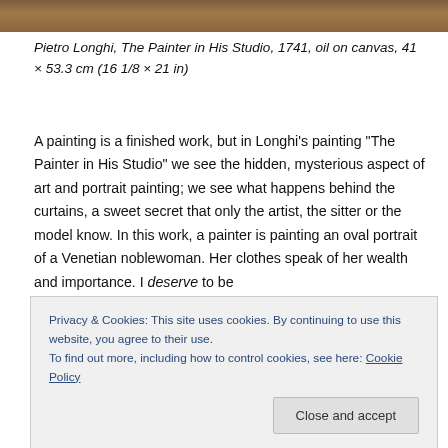[Figure (photo): Top portion of a painting visible as a horizontal image bar at the top of the page]
Pietro Longhi, The Painter in His Studio, 1741, oil on canvas, 41 × 53.3 cm (16 1/8 × 21 in)
A painting is a finished work, but in Longhi’s painting “The Painter in His Studio” we see the hidden, mysterious aspect of art and portrait painting; we see what happens behind the curtains, a sweet secret that only the artist, the sitter or the model know. In this work, a painter is painting an oval portrait of a Venetian noblewoman. Her clothes speak of her wealth and importance. I deserve to be
Privacy & Cookies: This site uses cookies. By continuing to use this website, you agree to their use.
To find out more, including how to control cookies, see here: Cookie Policy
another dog hiding in there. Their carnivals and their